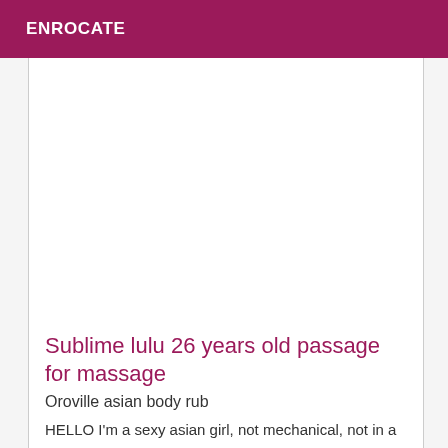ENROCATE
Sublime lulu 26 years old passage for massage
Oroville asian body rub
HELLO I'm a sexy asian girl, not mechanical, not in a